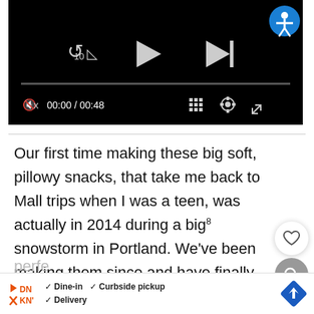[Figure (screenshot): Video player UI with black background showing playback controls: a rewind-10s button, play button, skip-to-end button, progress bar, mute icon, time display '00:00 / 00:48', grid/chapters icon, settings gear icon, fullscreen icon, and an accessibility icon in top-right corner.]
Our first time making these big soft, pillowy snacks, that take me back to Mall trips when I was a teen, was actually in 2014 during a big snowstorm in Portland. We've been making them since and have finally dialed in this easy soft pretzel recipe to (dare I say) near pretze... perfe
[Figure (screenshot): Advertisement bar at bottom: Dunkin' logo with play/stop icons, checkmarks for Dine-in, Curbside pickup, Delivery, and a blue diamond navigation arrow on the right.]